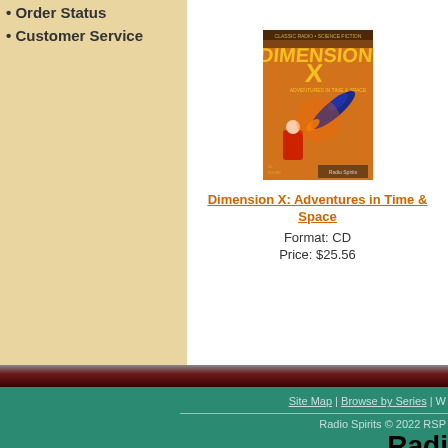• Order Status
• Customer Service
[Figure (illustration): Cover art for Dimension X: Adventures in Time & Space CD. Classic radio science fiction pulp-style artwork showing a spaceship and figures in red and orange tones.]
Dimension X: Adventures in Time & Space
Format: CD
Price: $25.56
Site Map | Browse by Series | W ... Radio Spirits © 2022 RSP... Radio